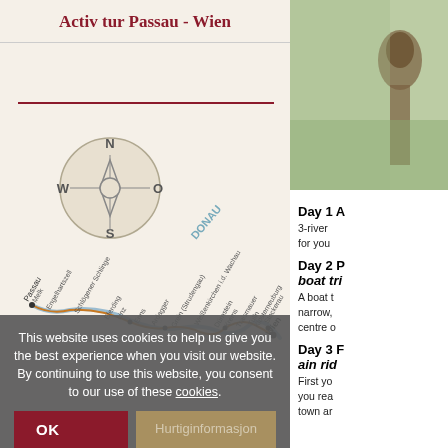Activ tur Passau - Wien
[Figure (map): Route map showing the Danube (DONAU) river path from Passau to Wien, with a compass rose (N/S/E/W), and labeled stops: Passau, Engelhartszell, Schlögener Schlinge, Eferding, Linz, Enns, Ardagger Strudengau, Grein (Strudengau), Weißenkirchen i.d. Wachau, Dürnstein, Krems, Traismauer, Tulln, Klosterneuburg, Stockerau, Wien]
This website uses cookies to help us give you the best experience when you visit our website. By continuing to use this website, you consent to our use of these cookies.
OK
Hurtiginformasjon
[Figure (photo): Decorative wooden sculpture or totem outdoors]
Day 1 A
3-river for you
Day 2 P boat tri
A boat t narrow, centre o
Day 3 F ain rid
First yo you rea town ar